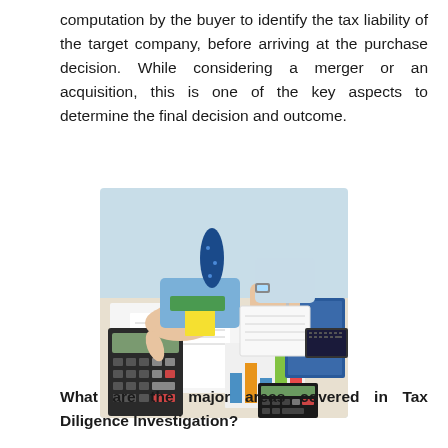computation by the buyer to identify the tax liability of the target company, before arriving at the purchase decision. While considering a merger or an acquisition, this is one of the key aspects to determine the final decision and outcome.
[Figure (photo): Business professionals working at a desk with calculators, papers with financial charts, and a pen — a tax/finance due diligence scene.]
What are the major areas covered in Tax Diligence Investigation?